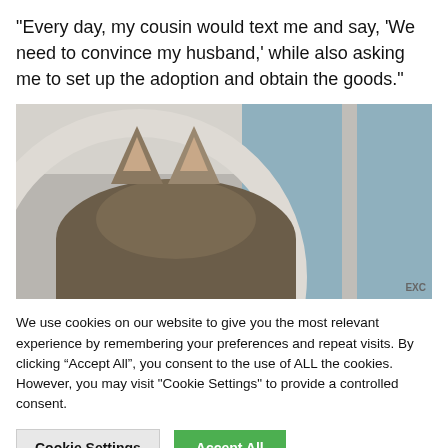“Every day, my cousin would text me and say, ‘We need to convince my husband,’ while also asking me to set up the adoption and obtain the goods.”
[Figure (photo): Close-up photo of the top of a cat's head showing pointed ears, taken from above. The cat appears to be inside a circular structure, with a window visible in the background.]
We use cookies on our website to give you the most relevant experience by remembering your preferences and repeat visits. By clicking “Accept All”, you consent to the use of ALL the cookies. However, you may visit "Cookie Settings" to provide a controlled consent.